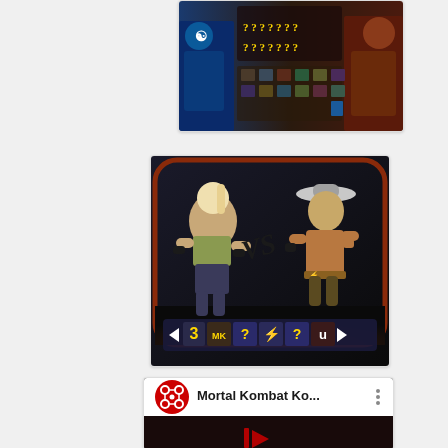[Figure (screenshot): Mortal Kombat character select screen with question marks and two fighters in blue and red on sides]
[Figure (screenshot): Mortal Kombat vs screen showing Sonya Blade vs Kung Lao with 3MK icons at bottom]
[Figure (screenshot): YouTube video thumbnail for Mortal Kombat Ko... with red circle logo and YouTube play button over crowd scene]